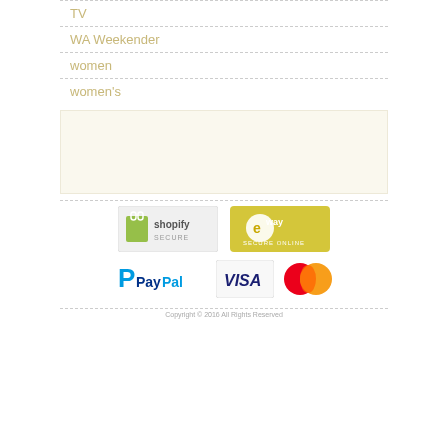TV
WA Weekender
women
women's
[Figure (other): Blank/empty content area placeholder with cream background]
[Figure (logo): Shopify Secure badge - green shopify logo with text SHOPIFY SECURE]
[Figure (logo): eWAY Secure Online payment badge - yellow badge with e-way logo and SECURE ONLINE text]
[Figure (logo): PayPal payment logo - blue PayPal text with P symbol]
[Figure (logo): Visa card logo - blue VISA text on white background with border]
[Figure (logo): MasterCard logo - red and yellow overlapping circles]
Copyright © 2016 All Rights Reserved